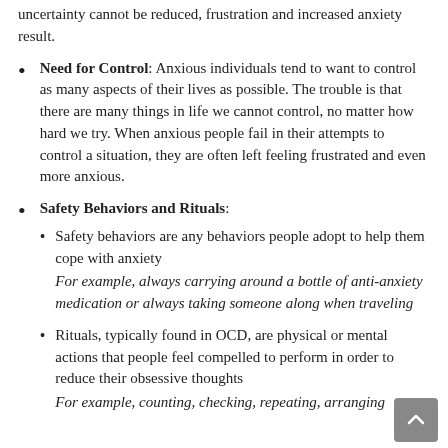uncertainty cannot be reduced, frustration and increased anxiety result.
Need for Control: Anxious individuals tend to want to control as many aspects of their lives as possible. The trouble is that there are many things in life we cannot control, no matter how hard we try. When anxious people fail in their attempts to control a situation, they are often left feeling frustrated and even more anxious.
Safety Behaviors and Rituals:
Safety behaviors are any behaviors people adopt to help them cope with anxiety. For example, always carrying around a bottle of anti-anxiety medication or always taking someone along when traveling
Rituals, typically found in OCD, are physical or mental actions that people feel compelled to perform in order to reduce their obsessive thoughts. For example, counting, checking, repeating, arranging